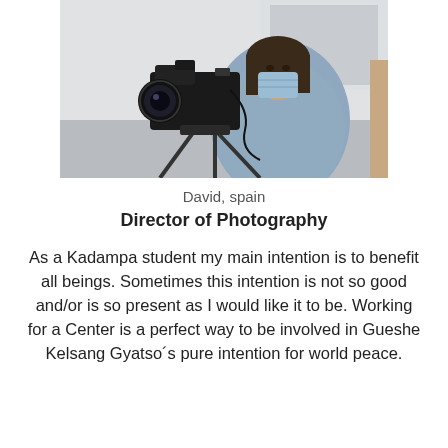[Figure (photo): A person wearing a blue face mask and denim jacket operating a professional camera on a tripod in an indoor setting.]
David, spain
Director of Photography
As a Kadampa student my main intention is to benefit all beings. Sometimes this intention is not so good and/or is so present as I would like it to be. Working for a Center is a perfect way to be involved in Gueshe Kelsang Gyatso´s pure intention for world peace.